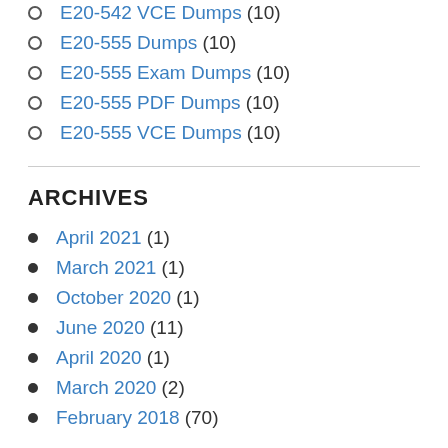E20-542 VCE Dumps (10)
E20-555 Dumps (10)
E20-555 Exam Dumps (10)
E20-555 PDF Dumps (10)
E20-555 VCE Dumps (10)
ARCHIVES
April 2021 (1)
March 2021 (1)
October 2020 (1)
June 2020 (11)
April 2020 (1)
March 2020 (2)
February 2018 (70)